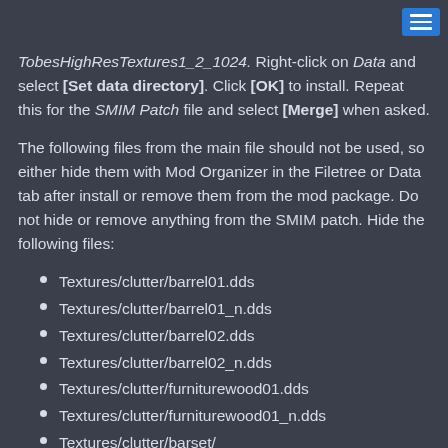TobesHighResTextures1_2_1024. Right-click on Data and select [Set data directory]. Click [OK] to install. Repeat this for the SMIM Patch file and select [Merge] when asked.
The following files from the main file should not be used, so either hide them with Mod Organizer in the Filetree or Data tab after install or remove them from the mod package. Do not hide or remove anything from the SMIM patch. Hide the following files:
Textures/clutter/barrel01.dds
Textures/clutter/barrel01_n.dds
Textures/clutter/barrel02.dds
Textures/clutter/barrel02_n.dds
Textures/clutter/furniturewood01.dds
Textures/clutter/furniturewood01_n.dds
Textures/clutter/barset/